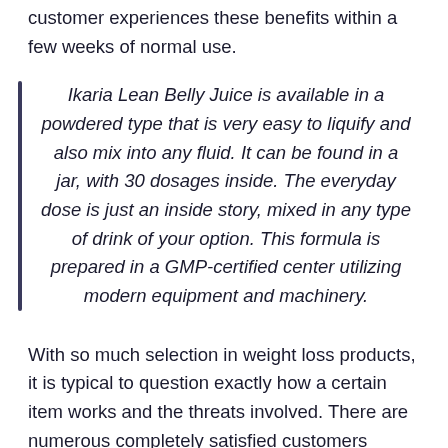customer experiences these benefits within a few weeks of normal use.
Ikaria Lean Belly Juice is available in a powdered type that is very easy to liquify and also mix into any fluid. It can be found in a jar, with 30 dosages inside. The everyday dose is just an inside story, mixed in any type of drink of your option. This formula is prepared in a GMP-certified center utilizing modern equipment and machinery.
With so much selection in weight loss products, it is typical to question exactly how a certain item works and the threats involved. There are numerous completely satisfied customers backing Ikaria Lean Belly Juice for its efficiency of results